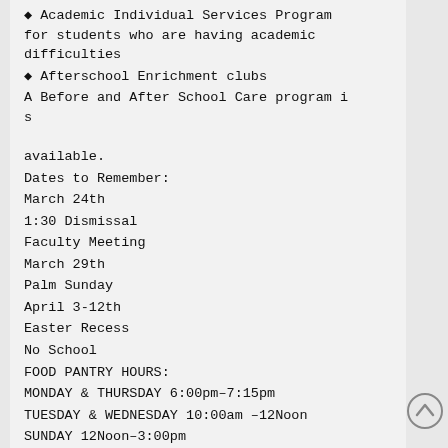♦ Academic Individual Services Program for students who are having academic difficulties
♦ Afterschool Enrichment clubs
A Before and After School Care program is available.
Dates to Remember:
March 24th
1:30 Dismissal
Faculty Meeting
March 29th
Palm Sunday
April 3-12th
Easter Recess
No School
FOOD PANTRY HOURS:
MONDAY & THURSDAY 6:00pm–7:15pm
TUESDAY & WEDNESDAY 10:00am –12Noon
SUNDAY 12Noon–3:00pm
CLOSED FRIDAY & SATURDAY
THRIFT SHOP HOURS
MONDAY through THURSDAY
10:00am–2:00pm
MONDAY & THURSDAY EVENINGS 6:00–7:45